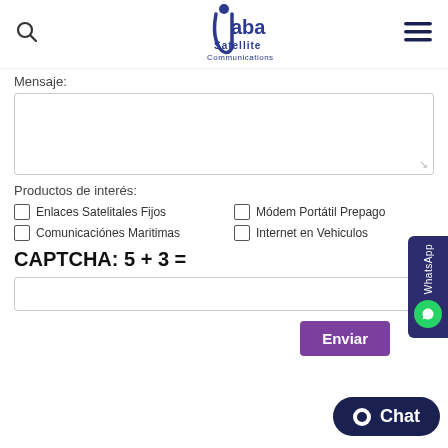[Figure (logo): Jaba Satellite Communications logo with stylized figure and blue text]
Mensaje:
[Figure (screenshot): Textarea input field for Mensaje]
Productos de interés:
☐ Enlaces Satelitales Fijos
☐ Módem Portátil Prepago
☐ Comunicaciónes Maritimas
☐ Internet en Vehiculos
CAPTCHA: 5 + 3 =
[Figure (screenshot): CAPTCHA input text field]
Enviar
[Figure (screenshot): WhatsApp floating sidebar button]
[Figure (screenshot): Chat button at bottom right]